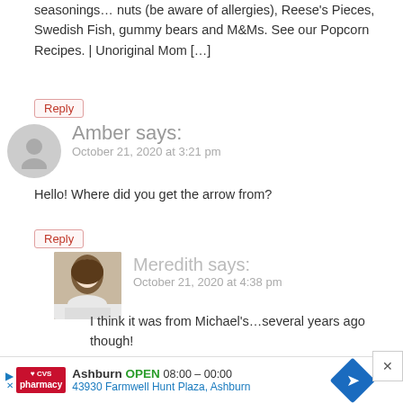seasonings… nuts (be aware of allergies), Reese's Pieces, Swedish Fish, gummy bears and M&Ms. See our Popcorn Recipes. | Unoriginal Mom […]
Reply
Amber says:
October 21, 2020 at 3:21 pm
Hello! Where did you get the arrow from?
Reply
[Figure (photo): Profile photo of Meredith – woman with brown hair]
Meredith says:
October 21, 2020 at 4:38 pm
I think it was from Michael's…several years ago though!
Reply
Brooke says:
[Figure (infographic): CVS Pharmacy ad: Ashburn OPEN 08:00–00:00, 43930 Farmwell Hunt Plaza, Ashburn]